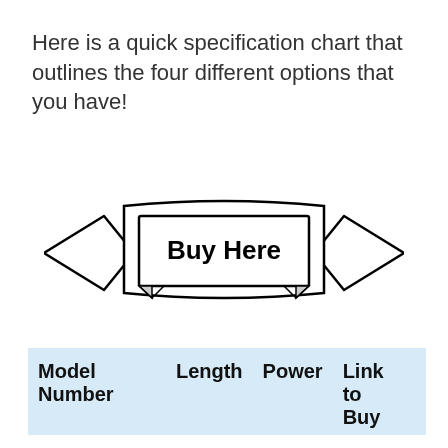Here is a quick specification chart that outlines the four different options that you have!
[Figure (illustration): A decorative ribbon/banner graphic with 'Buy Here' text in bold inside a rectangular center panel, with pointed arrow ends on left and right, and folded ribbon tails at the bottom.]
| Model Number | Length | Power | Link to Buy |
| --- | --- | --- | --- |